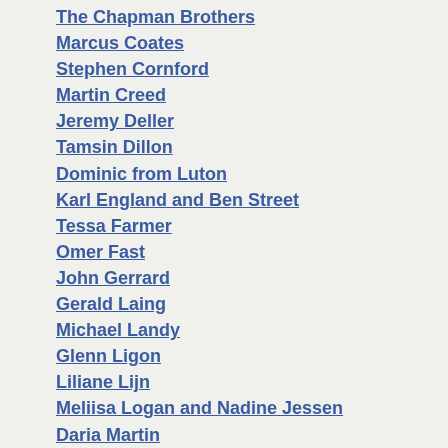The Chapman Brothers
Marcus Coates
Stephen Cornford
Martin Creed
Jeremy Deller
Tamsin Dillon
Dominic from Luton
Karl England and Ben Street
Tessa Farmer
Omer Fast
John Gerrard
Gerald Laing
Michael Landy
Glenn Ligon
Liliane Lijn
Meliisa Logan and Nadine Jessen
Daria Martin